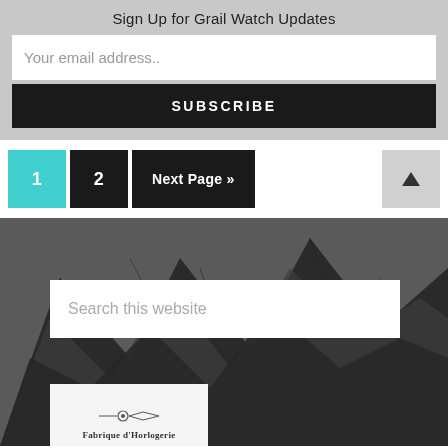Sign Up for Grail Watch Updates
Your email address..
SUBSCRIBE
1  2  Next Page »
[Figure (screenshot): Mountain landscape background in dark grayscale tones]
Search this website
LATEST POSTS
Fabrique d'Horlogerie